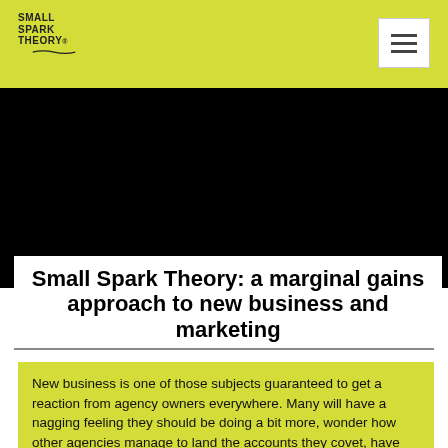SMALL SPARK THEORY
[Figure (photo): Black hero image area, dark background representing a video or photo placeholder]
Small Spark Theory: a marginal gains approach to new business and marketing
New business is one of those subjects guaranteed to get a reaction from agency owners everywhere. Many will have a nagging feeling they should be doing a bit more, wonder how other agencies manage to land the accounts they covet, have moments of wild inspiration and energy then falter because the day job just, well